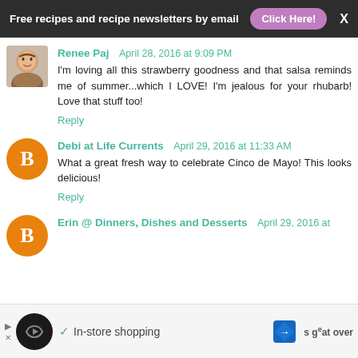Free recipes and recipe newsletters by email  Click Here!
Renee Paj  April 28, 2016 at 9:09 PM
I'm loving all this strawberry goodness and that salsa reminds me of summer...which I LOVE! I'm jealous for your rhubarb! Love that stuff too!
Reply
Debi at Life Currents  April 29, 2016 at 11:33 AM
What a great fresh way to celebrate Cinco de Mayo! This looks delicious!
Reply
Erin @ Dinners, Dishes and Desserts  April 29, 2016 at
[Figure (screenshot): Ad bar at the bottom showing In-store shopping with icons]